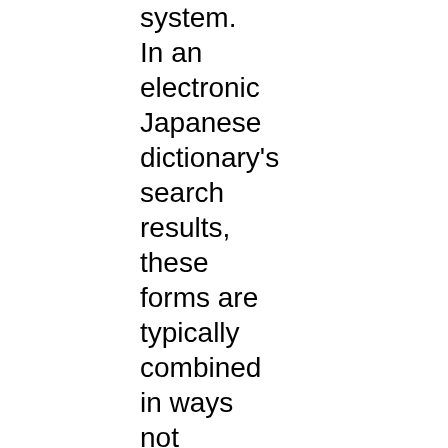system. In an electronic Japanese dictionary's search results, these forms are typically combined in ways not reflected in entry content.
Inflected forms of a headword. In print dictionaries, inflections generally do not have their